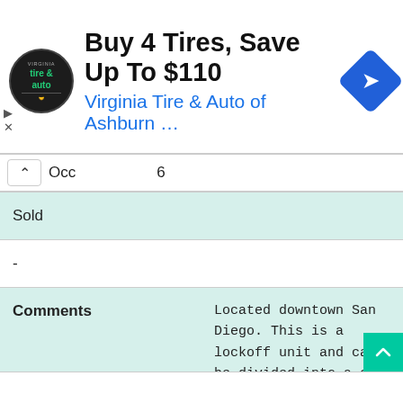[Figure (screenshot): Advertisement banner for Virginia Tire & Auto of Ashburn promoting Buy 4 Tires, Save Up To $110, with logo and navigation icon.]
| Field | Value |
| --- | --- |
| Occ | 6 |
| Sold |  |
| - |  |
| Comments | Located downtown San Diego. This is a lockoff unit and can be divided into a one bedroom and a hotel unit. Rent one out and use the other. Or exchange one or both. Lots... |